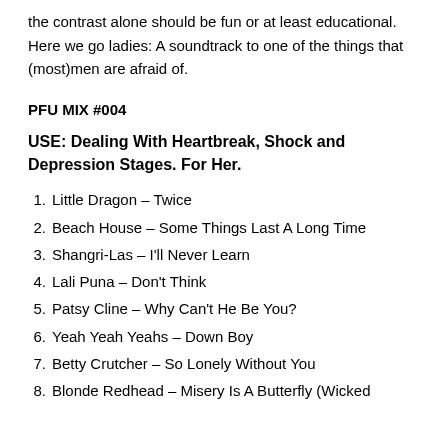the contrast alone should be fun or at least educational. Here we go ladies: A soundtrack to one of the things that (most)men are afraid of.
PFU MIX #004
USE: Dealing With Heartbreak, Shock and Depression Stages. For Her.
1. Little Dragon – Twice
2. Beach House – Some Things Last A Long Time
3. Shangri-Las – I'll Never Learn
4. Lali Puna – Don't Think
5. Patsy Cline – Why Can't He Be You?
6. Yeah Yeah Yeahs – Down Boy
7. Betty Crutcher – So Lonely Without You
8. Blonde Redhead – Misery Is A Butterfly (Wicked